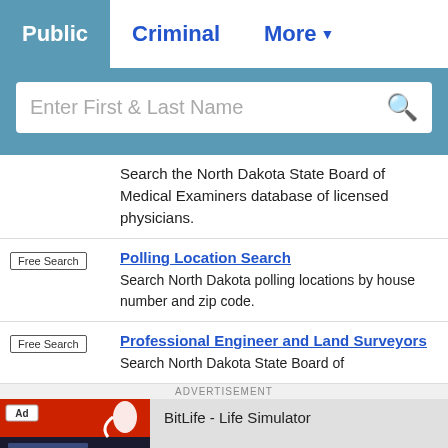Public  Criminal  More
[Figure (screenshot): Search bar with placeholder text 'Enter First & Last Name' and a search icon]
Search the North Dakota State Board of Medical Examiners database of licensed physicians.
Polling Location Search
Search North Dakota polling locations by house number and zip code.
Professional Engineer and Land Surveyors
Search North Dakota State Board of
[Figure (screenshot): Advertisement banner for BitLife - Life Simulator app with Install button]